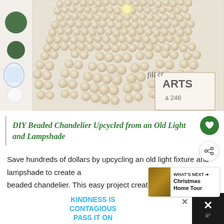[Figure (photo): Photograph of a DIY beaded chandelier made from cream/ivory wooden beads draped in strands, with a light bulb visible at center and a decorative sign with text 'ARTS' and '246' in the background. Left side shows a white panel with green and blue decorative plates/circles.]
DIY Beaded Chandelier Upcycled from an Old Light and Lampshade
Save hundreds of dollars by upcycling an old light fixture and lampshade to create a beaded chandelier. This easy project creates a neutral farmhouse style fixture for over half...
WHAT'S NEXT → Christmas Home Tour
KINDNESS IS CONTAGIOUS PASS IT ON